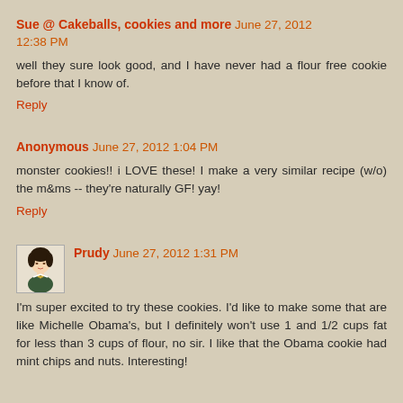Sue @ Cakeballs, cookies and more June 27, 2012 12:38 PM
well they sure look good, and I have never had a flour free cookie before that I know of.
Reply
Anonymous June 27, 2012 1:04 PM
monster cookies!! i LOVE these! I make a very similar recipe (w/o) the m&ms -- they're naturally GF! yay!
Reply
Prudy June 27, 2012 1:31 PM
[Figure (illustration): Small avatar illustration of a woman with dark hair in vintage style]
I'm super excited to try these cookies. I'd like to make some that are like Michelle Obama's, but I definitely won't use 1 and 1/2 cups fat for less than 3 cups of flour, no sir. I like that the Obama cookie had mint chips and nuts. Interesting!